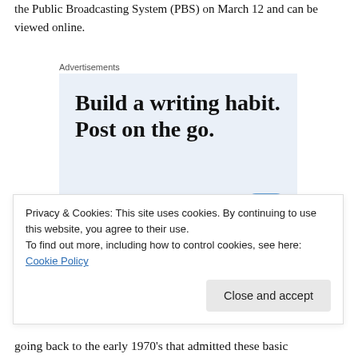the Public Broadcasting System (PBS) on March 12 and can be viewed online.
[Figure (other): Advertisement banner: 'Build a writing habit. Post on the go.' with a 'GET THE APP' call to action and WordPress logo icon on a light blue background.]
Privacy & Cookies: This site uses cookies. By continuing to use this website, you agree to their use.
To find out more, including how to control cookies, see here: Cookie Policy
going back to the early 1970's that admitted these basic